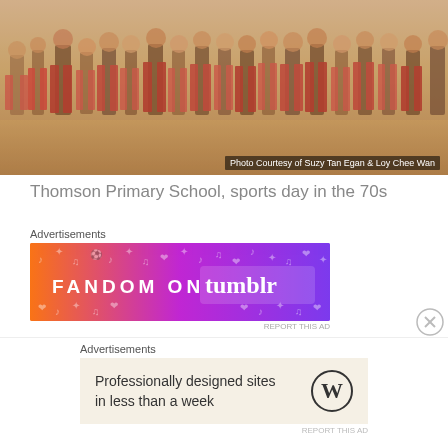[Figure (photo): Children at Thomson Primary School sports day in the 70s, vintage photo with warm tones showing students in shorts and white shirts]
Photo Courtesy of Suzy Tan Egan & Loy Chee Wan
Thomson Primary School, sports day in the 70s
[Figure (other): Fandom on Tumblr advertisement banner with orange to purple gradient]
Four years after the first merger, the school absorbed Balestier Hill Primary in 1989. This Balestier Hill Primary is NOT to be confused with the similarly-named school formed by the merger of Swiss Cottage and Moulmein Primary in 2002. The original Balestier Hill
[Figure (other): WordPress advertisement: Professionally designed sites in less than a week]